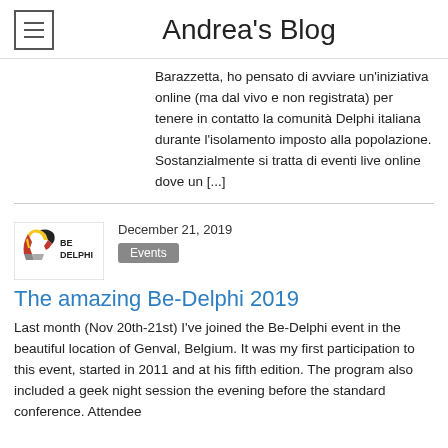Andrea's Blog
Barazzetta, ho pensato di avviare un'iniziativa online (ma dal vivo e non registrata) per tenere in contatto la comunità Delphi italiana durante l'isolamento imposto alla popolazione. Sostanzialmente si tratta di eventi live online dove un [...]
[Figure (logo): Be-Delphi logo: helmet icon with BE DELPHI text]
December 21, 2019
Events
The amazing Be-Delphi 2019
Last month (Nov 20th-21st) I've joined the Be-Delphi event in the beautiful location of Genval, Belgium. It was my first participation to this event, started in 2011 and at his fifth edition. The program also included a geek night session the evening before the standard conference. Attendees...